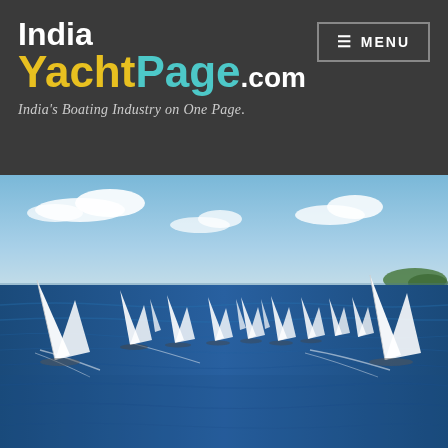[Figure (logo): IndiaYachtPage.com logo with tagline 'India's Boating Industry on One Page.' on dark background, with MENU button top right]
[Figure (photo): Aerial photo of multiple sailing yachts with white sails racing across deep blue ocean water, with sky and distant green island visible]